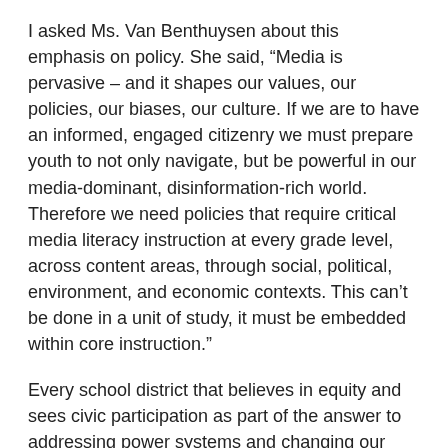I asked Ms. Van Benthuysen about this emphasis on policy. She said, “Media is pervasive – and it shapes our values, our policies, our biases, our culture. If we are to have an informed, engaged citizenry we must prepare youth to not only navigate, but be powerful in our media-dominant, disinformation-rich world. Therefore we need policies that require critical media literacy instruction at every grade level, across content areas, through social, political, environment, and economic contexts. This can’t be done in a unit of study, it must be embedded within core instruction.”
Every school district that believes in equity and sees civic participation as part of the answer to addressing power systems and changing our world, may want to consider media literacy policies that ensure students have the tools and skills they need now, and when they graduate. Schools can start with the Chicago Public Schools strategic plan as a model.